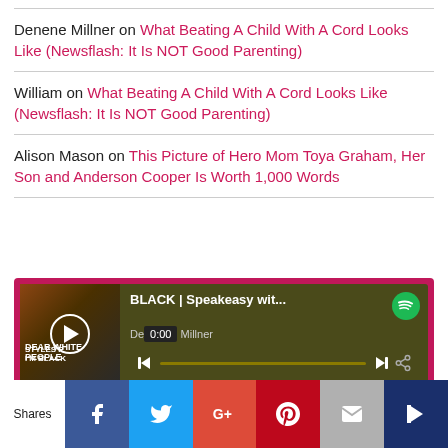Denene Millner on What Beating A Child With A Cord Looks Like (Newsflash: It Is NOT Good Parenting)
William on What Beating A Child With A Cord Looks Like (Newsflash: It Is NOT Good Parenting)
Alison Mason on This Picture of Hero Mom Toya Graham, Her Son and Anderson Cooper Is Worth 1,000 Words
[Figure (screenshot): Spotify embedded player widget showing 'BLACK | Speakeasy wit...' by Denene Millner, with track 1 'Black America Again' by Common, Stevie Wonder, duration 6:05, and album art for Styles P 'I'm Black']
Shares | Facebook | Twitter | G+ | Pinterest | Email | (crown icon)